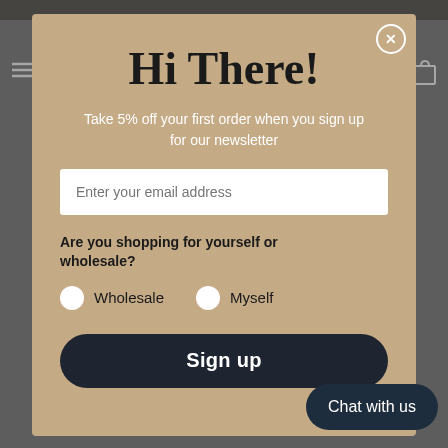Hi There!
Take 5% off your first order when you sign up for our newsletter
Enter your email address
Are you shopping for yourself or wholesale?
Wholesale
Myself
Sign up
Chat with us